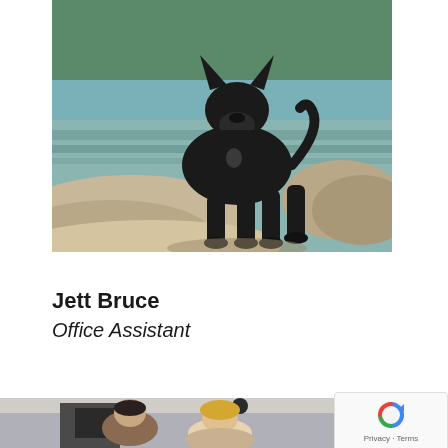[Figure (photo): A black dog standing on rocks near a rocky shoreline with water and green trees in the background. The dog appears wet and is looking at the camera.]
Jett Bruce
Office Assistant
[Figure (photo): Partial view of two people (a man and a woman with blonde hair) inside what appears to be an office or vehicle interior, partially visible at the bottom of the page.]